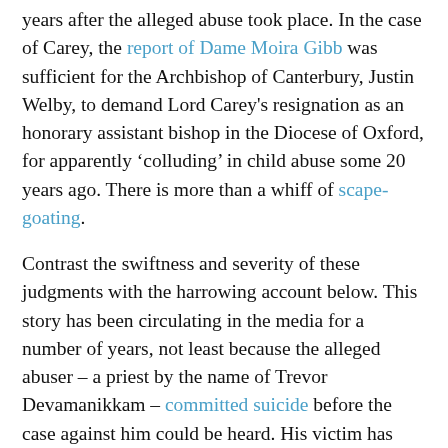years after the alleged abuse took place. In the case of Carey, the report of Dame Moira Gibb was sufficient for the Archbishop of Canterbury, Justin Welby, to demand Lord Carey's resignation as an honorary assistant bishop in the Diocese of Oxford, for apparently 'colluding' in child abuse some 20 years ago. There is more than a whiff of scape-goating.
Contrast the swiftness and severity of these judgments with the harrowing account below. This story has been circulating in the media for a number of years, not least because the alleged abuser – a priest by the name of Trevor Devamanikkam – committed suicide before the case against him could be heard. His victim has hitherto remained anonymous – often named 'Michael' in the media. He has lodged complaints of misconduct against the